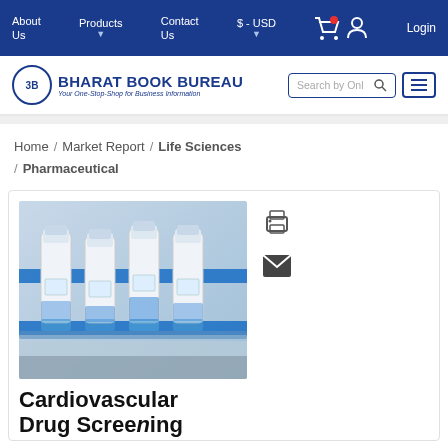About Us | Products | Contact Us | $ - USD | Login
[Figure (logo): 3B Bharat Book Bureau logo - Your One-Stop-Shop for Business Information]
Home / Market Report / Life Sciences / Pharmaceutical
[Figure (photo): Pharmaceutical vials on a blue conveyor/rack in a laboratory setting]
Cardiovascular Drug Screening...